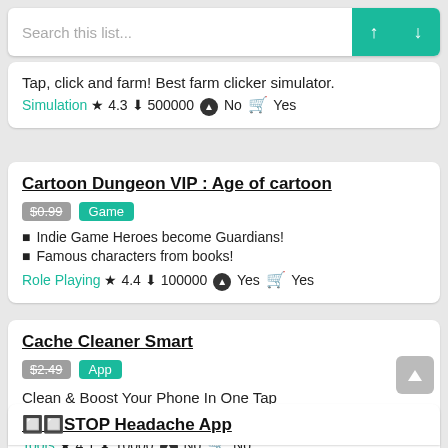[Figure (screenshot): Search bar with up/down navigation buttons in teal]
Tap, click and farm! Best farm clicker simulator.
Simulation ★ 4.3 ⬇ 500000 ⬤ No 🛒 Yes
Cartoon Dungeon VIP : Age of cartoon
$0.99 Game
■ Indie Game Heroes become Guardians!
■ Famous characters from books!
Role Playing ★ 4.4 ⬇ 100000 ⬤ Yes 🛒 Yes
Cache Cleaner Smart
$2.49 App
Clean & Boost Your Phone In One Tap
With CPU Cooler Battery Saver & Junk Cleaner
Tools ★ 4.1 ⬇ 10000 ⬤ No 🛒 No
🔲🔲STOP Headache App